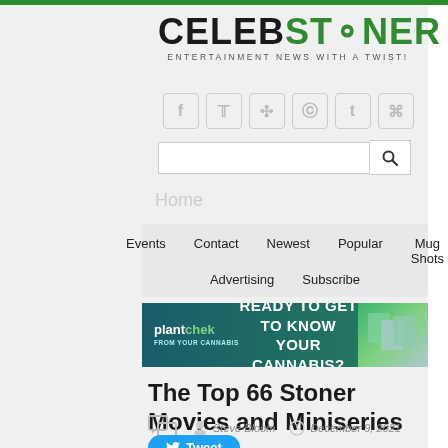CELEBSTONER - ENTERTAINMENT NEWS WITH A TWIST!
[Figure (logo): CelebStoner logo with green cannabis leaf icon and tagline ENTERTAINMENT NEWS WITH A TWIST!]
[Figure (infographic): Social media icons: Facebook, Twitter, Pinterest, Instagram, Tumblr, RSS]
[Figure (screenshot): Search bar with search button]
Home
Events  Contact  Newest  Popular  Mug Shots  Advertising  Subscribe
[Figure (photo): plantchek advertisement banner: READY TO GET TO KNOW YOUR CANNABIS?]
The Top 66 Stoner Movies and Miniseries of 2021
Steve Bloom  December 9, 2021
Tweet